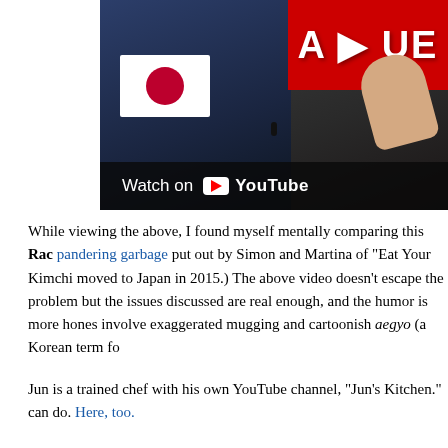[Figure (screenshot): YouTube video thumbnail showing a man holding a Japanese flag, a red banner with partial text in upper right, and a 'Watch on YouTube' overlay bar at the bottom. A second person's hand is visible on the right side.]
While viewing the above, I found myself mentally comparing this Rac pandering garbage put out by Simon and Martina of "Eat Your Kimchi moved to Japan in 2015.) The above video doesn't escape the problem but the issues discussed are real enough, and the humor is more hones involve exaggerated mugging and cartoonish aegyo (a Korean term fo
Jun is a trained chef with his own YouTube channel, "Jun's Kitchen." Here, too. can do. Here, too.